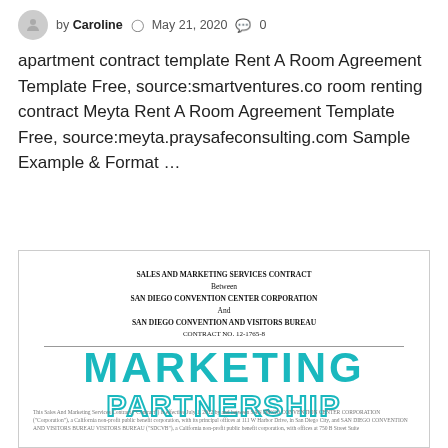by Caroline  May 21, 2020  0
apartment contract template Rent A Room Agreement Template Free, source:smartventures.co room renting contract Meyta Rent A Room Agreement Template Free, source:meyta.praysafeconsulting.com Sample Example & Format …
[Figure (other): Document preview showing a Sales and Marketing Services Contract between San Diego Convention Center Corporation and San Diego Convention and Visitors Bureau, Contract No. 12-1765-8, with a large teal 'MARKETING PARTNERSHIP' watermark overlay.]